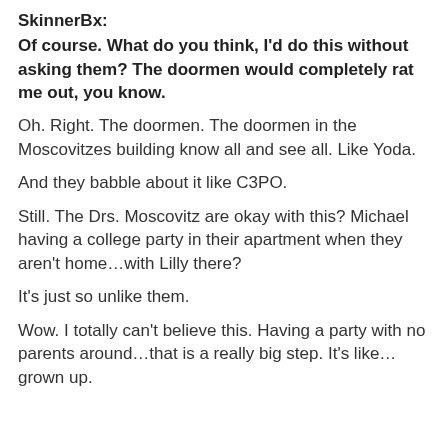SkinnerBx:
Of course. What do you think, I'd do this without asking them? The doormen would completely rat me out, you know.
Oh. Right. The doormen. The doormen in the Moscovitzes building know all and see all. Like Yoda.
And they babble about it like C3PO.
Still. The Drs. Moscovitz are okay with this? Michael having a college party in their apartment when they aren't home…with Lilly there?
It's just so unlike them.
Wow. I totally can't believe this. Having a party with no parents around…that is a really big step. It's like…grown up.